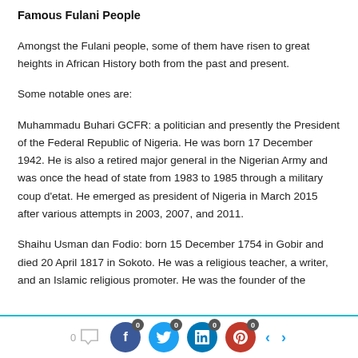Famous Fulani People
Amongst the Fulani people, some of them have risen to great heights in African History both from the past and present.
Some notable ones are:
Muhammadu Buhari GCFR: a politician and presently the President of the Federal Republic of Nigeria. He was born 17 December 1942. He is also a retired major general in the Nigerian Army and was once the head of state from 1983 to 1985 through a military coup d'etat. He emerged as president of Nigeria in March 2015 after various attempts in 2003, 2007, and 2011.
Shaihu Usman dan Fodio: born 15 December 1754 in Gobir and died 20 April 1817 in Sokoto. He was a religious teacher, a writer, and an Islamic religious promoter. He was the founder of the
0  [comment] [facebook 0] [twitter 0] [linkedin 0] [pinterest 0] < >